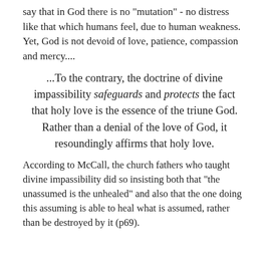say that in God there is no "mutation" - no distress like that which humans feel, due to human weakness. Yet, God is not devoid of love, patience, compassion and mercy....
...To the contrary, the doctrine of divine impassibility safeguards and protects the fact that holy love is the essence of the triune God. Rather than a denial of the love of God, it resoundingly affirms that holy love.
According to McCall, the church fathers who taught divine impassibility did so insisting both that "the unassumed is the unhealed" and also that the one doing this assuming is able to heal what is assumed, rather than be destroyed by it (p69).